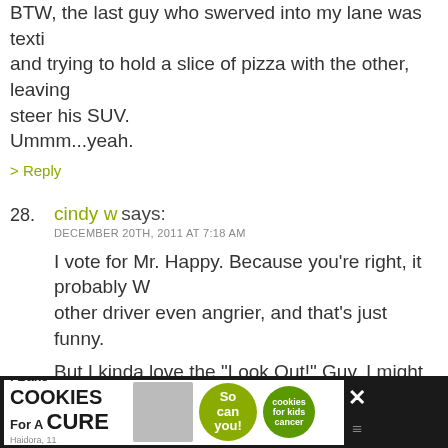BTW, the last guy who swerved into my lane was texting and trying to hold a slice of pizza with the other, leaving steer his SUV.
Ummm...yeah.
> Reply
28. cindy w says:
DECEMBER 20TH, 2011 AT 7:18 AM
I vote for Mr. Happy. Because you’re right, it probably W other driver even angrier, and that’s just funny.
But I kinda love the “Look Out!” Guy. I might try that on someday.
> Reply
29. Nicole says:
DECEMBER 20TH, 2011 AT 7:28 AM
So funny!! You NEED to do a character next time! I thin would be hilarious.
[Figure (advertisement): I Bake COOKIES For A CURE advertisement with photo of girl and cookies for kids cancer logo]